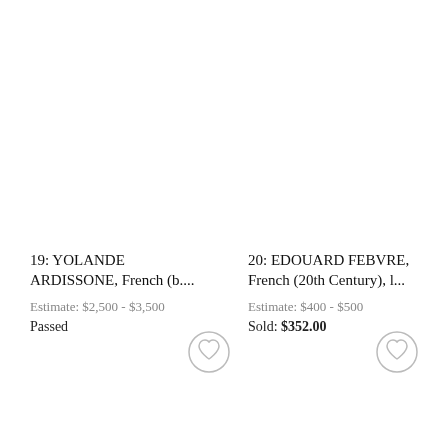19: YOLANDE ARDISSONE, French (b....
Estimate: $2,500 - $3,500
Passed
20: EDOUARD FEBVRE, French (20th Century), l...
Estimate: $400 - $500
Sold: $352.00
[Figure (illustration): Heart/favorite icon button (circle with heart outline) for lot 19]
[Figure (illustration): Heart/favorite icon button (circle with heart outline) for lot 20]